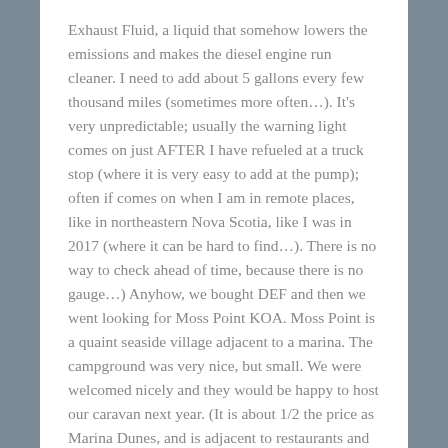Exhaust Fluid, a liquid that somehow lowers the emissions and makes the diesel engine run cleaner. I need to add about 5 gallons every few thousand miles (sometimes more often…). It's very unpredictable; usually the warning light comes on just AFTER I have refueled at a truck stop (where it is very easy to add at the pump); often if comes on when I am in remote places, like in northeastern Nova Scotia, like I was in 2017 (where it can be hard to find…). There is no way to check ahead of time, because there is no gauge…) Anyhow, we bought DEF and then we went looking for Moss Point KOA. Moss Point is a quaint seaside village adjacent to a marina. The campground was very nice, but small. We were welcomed nicely and they would be happy to host our caravan next year. (It is about 1/2 the price as Marina Dunes, and is adjacent to restaurants and other seaside attractions.)
Our next stop was another KOA, this one near the highway, and not nearly as nice. Good place, as all